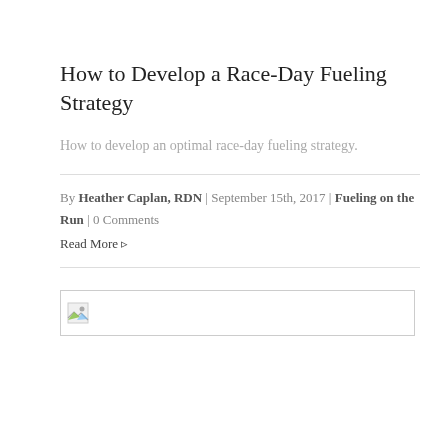How to Develop a Race-Day Fueling Strategy
How to develop an optimal race-day fueling strategy.
By Heather Caplan, RDN | September 15th, 2017 | Fueling on the Run | 0 Comments
Read More ▹
[Figure (photo): Broken image placeholder thumbnail]